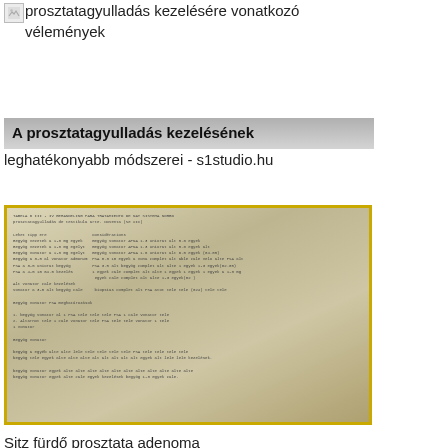[Figure (screenshot): Thumbnail image with broken image icon for prosztatagyulladás kezelésére vonatkozó vélemények]
prosztatagyulladás kezelésére vonatkozó vélemények
A prosztatagyulladás kezelésének leghatékonyabb módszerei - s1studio.hu
[Figure (screenshot): Screenshot of a medical document table with text in Hungarian, bordered in gold/yellow]
Sitz fürdő prosztata adenoma
[Figure (screenshot): Blurred/greyed out image placeholder]
Prostata túltengés iii stádium